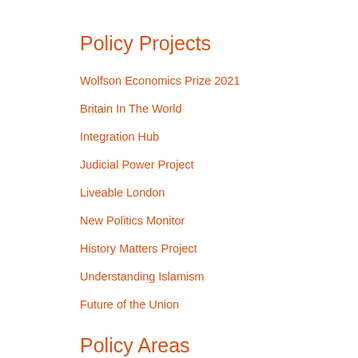Policy Projects
Wolfson Economics Prize 2021
Britain In The World
Integration Hub
Judicial Power Project
Liveable London
New Politics Monitor
History Matters Project
Understanding Islamism
Future of the Union
Policy Areas
Crime and Justice